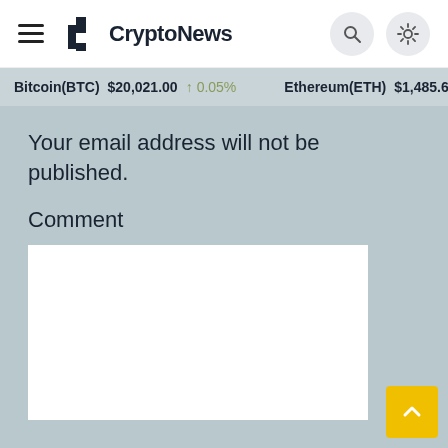CryptoNews
Bitcoin(BTC) $20,021.00 ↑ 0.05%   Ethereum(ETH) $1,485.69 ↑
Your email address will not be published.
Comment